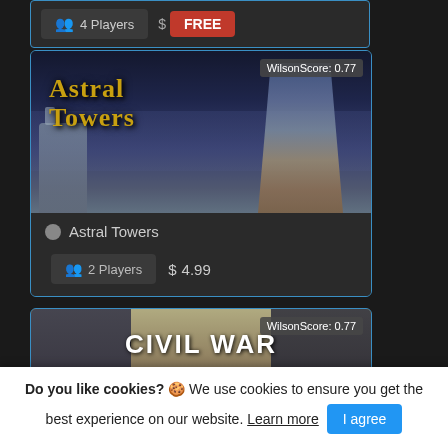[Figure (screenshot): Top partial card showing 4 Players button and FREE badge]
[Figure (screenshot): Astral Towers game card with fantasy art, WilsonScore: 0.77, 2 Players, $4.99]
Astral Towers
2 Players  $ 4.99
[Figure (screenshot): Civil War: Battle of Petersburg game card with WilsonScore: 0.77]
Do you like cookies? 🍪 We use cookies to ensure you get the best experience on our website. Learn more  I agree